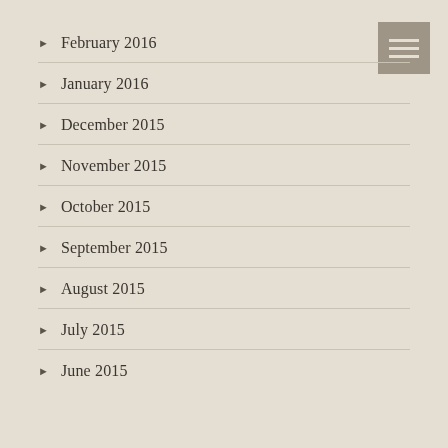February 2016
January 2016
December 2015
November 2015
October 2015
September 2015
August 2015
July 2015
June 2015